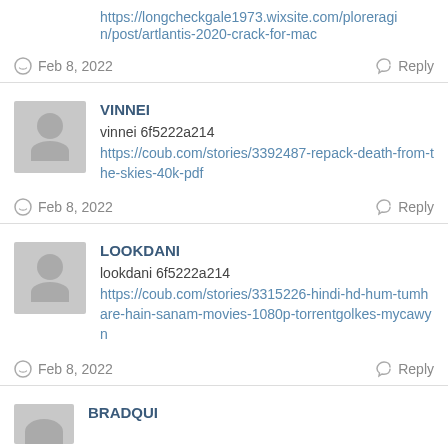https://longcheckgale1973.wixsite.com/ploreragi n/post/artlantis-2020-crack-for-mac
Feb 8, 2022   Reply
VINNEI
vinnei 6f5222a214 https://coub.com/stories/3392487-repack-death-from-the-skies-40k-pdf
Feb 8, 2022   Reply
LOOKDANI
lookdani 6f5222a214 https://coub.com/stories/3315226-hindi-hd-hum-tumhare-hain-sanam-movies-1080p-torrentgolkes-mycawyn
Feb 8, 2022   Reply
BRADQUI